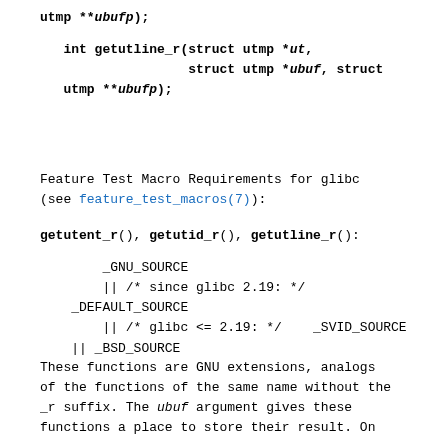utmp **ubufp);
int getutline_r(struct utmp *ut,
                struct utmp *ubuf, struct
    utmp **ubufp);
Feature Test Macro Requirements for glibc
(see feature_test_macros(7)):
getutent_r(), getutid_r(), getutline_r():
_GNU_SOURCE
    || /* since glibc 2.19: */
_DEFAULT_SOURCE
    || /* glibc <= 2.19: */    _SVID_SOURCE
|| _BSD_SOURCE
These functions are GNU extensions, analogs
of the functions of the same name without the
_r suffix. The ubuf argument gives these
functions a place to store their result. On